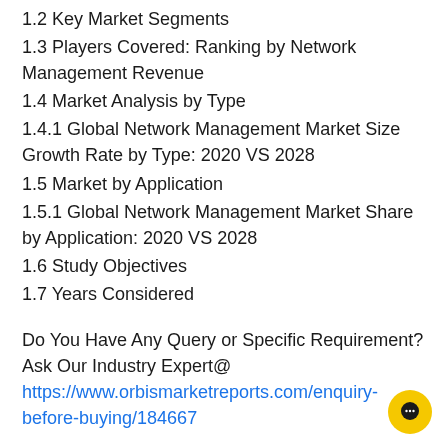1.2 Key Market Segments
1.3 Players Covered: Ranking by Network Management Revenue
1.4 Market Analysis by Type
1.4.1 Global Network Management Market Size Growth Rate by Type: 2020 VS 2028
1.5 Market by Application
1.5.1 Global Network Management Market Share by Application: 2020 VS 2028
1.6 Study Objectives
1.7 Years Considered
Do You Have Any Query or Specific Requirement? Ask Our Industry Expert@ https://www.orbismarketreports.com/enquiry-before-buying/184667